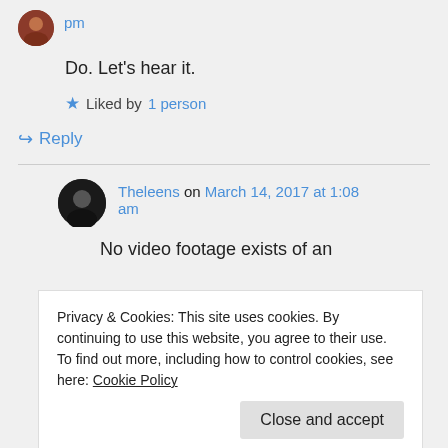pm
Do. Let's hear it.
Liked by 1 person
Reply
Theleens on March 14, 2017 at 1:08 am
No video footage exists of an
Privacy & Cookies: This site uses cookies. By continuing to use this website, you agree to their use.
To find out more, including how to control cookies, see here: Cookie Policy
Close and accept
Queen had come to Scotland